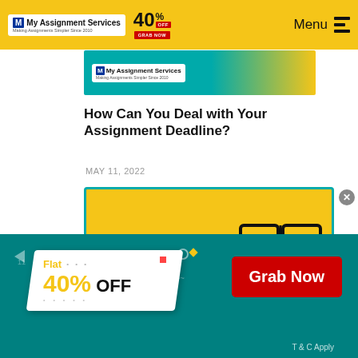My Assignment Services — Making Assignments Simpler Since 2010 | 40% OFF | Menu
[Figure (screenshot): Partial banner image showing My Assignment Services logo on teal/yellow background]
How Can You Deal with Your Assignment Deadline?
MAY 11, 2022
[Figure (infographic): Yellow card with teal border showing 'HOW TO WRITE A BOOK REPORT OUTLINE?' text and open book icon illustration]
[Figure (infographic): Bottom teal promotional banner with 'Flat 40% OFF' ticket design and 'Grab Now' red button, T & C Apply text]